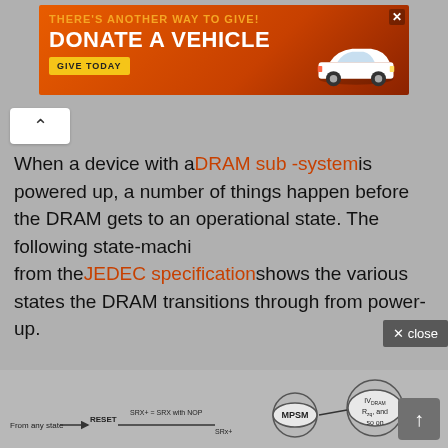[Figure (infographic): Orange advertisement banner: 'THERE'S ANOTHER WAY TO GIVE! DONATE A VEHICLE — GIVE TODAY' with a white car image on the right and X close button.]
When a device with a DRAM sub -system is powered up, a number of things happen before the DRAM gets to an operational state. The following state-machine from the JEDEC specification shows the various states the DRAM transitions through from power-up.
[Figure (flowchart): Partial DRAM power-up state machine diagram from JEDEC specification showing states including RESET, MPSM, and other states with transitions labeled 'From any state', 'SRX+ = SRX with NOP', 'SRx+'. Circles represent states.]